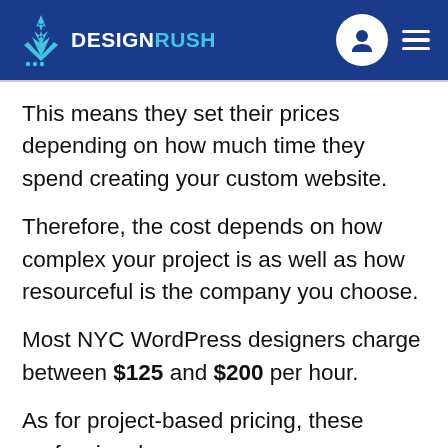DESIGNRUSH
This means they set their prices depending on how much time they spend creating your custom website.
Therefore, the cost depends on how complex your project is as well as how resourceful is the company you choose.
Most NYC WordPress designers charge between $125 and $200 per hour.
As for project-based pricing, these professional